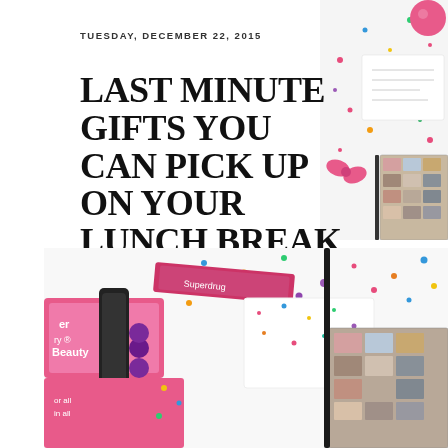TUESDAY, DECEMBER 22, 2015
LAST MINUTE GIFTS YOU CAN PICK UP ON YOUR LUNCH BREAK
[Figure (illustration): Social sharing icons: email envelope, Twitter bird, Facebook f, Pinterest p]
[Figure (photo): Top-right corner: beauty/cosmetics product photo with confetti packaging and eyeshadow palette]
[Figure (photo): Bottom photo: pink beauty products including makeup brushes, nail polish beads, and eyeshadow palette]